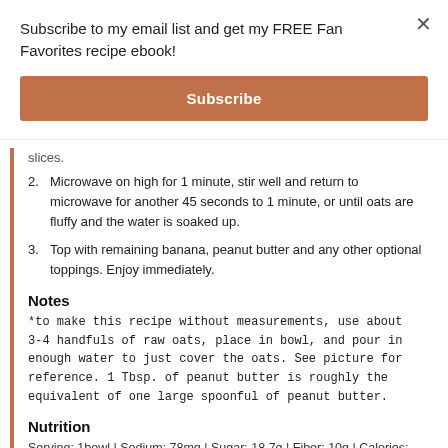Subscribe to my email list and get my FREE Fan Favorites recipe ebook!
Subscribe
slices.
2. Microwave on high for 1 minute, stir well and return to microwave for another 45 seconds to 1 minute, or until oats are fluffy and the water is soaked up.
3. Top with remaining banana, peanut butter and any other optional toppings. Enjoy immediately.
Notes
*to make this recipe without measurements, use about 3-4 handfuls of raw oats, place in bowl, and pour in enough water to just cover the oats. See picture for reference. 1 Tbsp. of peanut butter is roughly the equivalent of one large spoonful of peanut butter.
Nutrition
Serving: 1bowl | Sodium: 78mg | Sugar: 18.7g | Fiber: 10g | Calories: